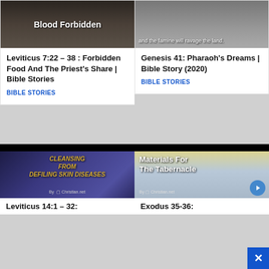[Figure (screenshot): Thumbnail image with dark outdoor winter scene and bold white text 'Blood Forbidden']
Leviticus 7:22 – 38 : Forbidden Food And The Priest's Share | Bible Stories
BIBLE STORIES
[Figure (screenshot): Grayscale image with text 'and the famine will ravage the land.' overlaid]
Genesis 41: Pharaoh's Dreams | Bible Story (2020)
BIBLE STORIES
[Figure (screenshot): Dark blue sky thumbnail with golden italic text 'CLEANSING FROM DEFILING SKIN DISEASES' and 'By Christian.net']
Leviticus 14:1 – 32:
[Figure (screenshot): Mountain landscape thumbnail with bold white text 'Materials For The Tabernacle' and 'By Christian.net' with a blue circle icon]
Exodus 35-36: